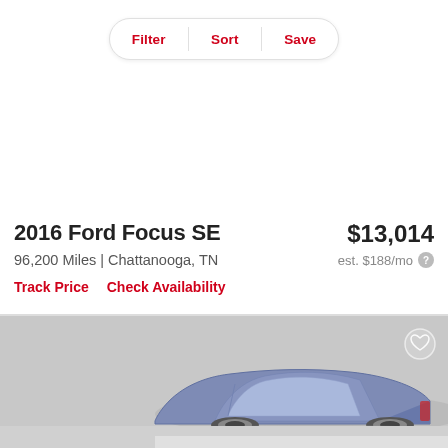Filter  Sort  Save
2016 Ford Focus SE
96,200 Miles | Chattanooga, TN
$13,014
est. $188/mo
Track Price
Check Availability
[Figure (photo): A car (appears to be a blue/purple sedan) partially visible at the bottom of the page, shown from a rear three-quarter angle, with a gray background and lighter gray floor area.]